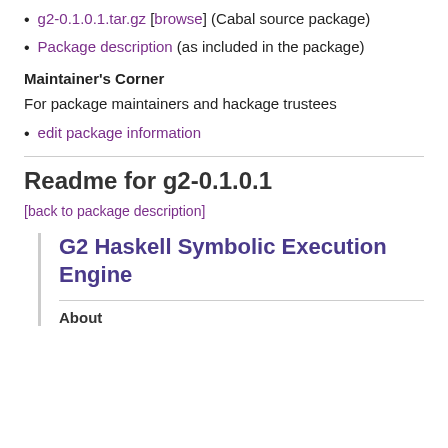g2-0.1.0.1.tar.gz [browse] (Cabal source package)
Package description (as included in the package)
Maintainer's Corner
For package maintainers and hackage trustees
edit package information
Readme for g2-0.1.0.1
[back to package description]
G2 Haskell Symbolic Execution Engine
About